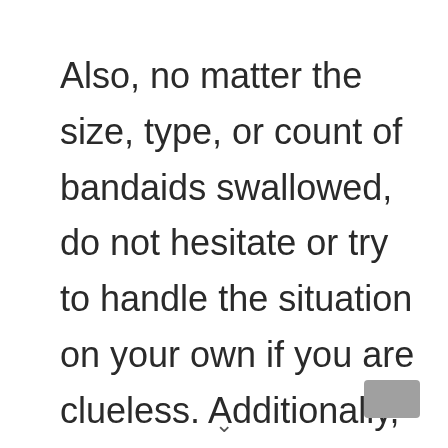Also, no matter the size, type, or count of bandaids swallowed, do not hesitate or try to handle the situation on your own if you are clueless. Additionally, once you reach the vet, get your dog examined completely to clear out your doubts. You may also try to vent out your concerns to help the